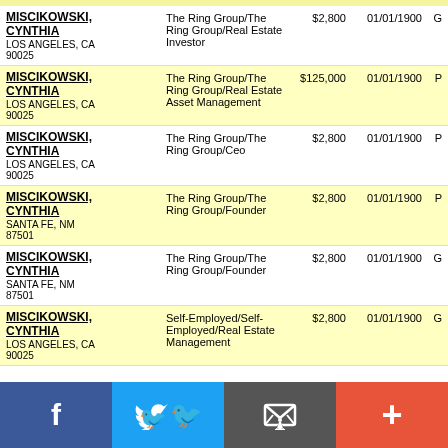| Name/Address | Organization/Occupation | Amount | Date | Code |
| --- | --- | --- | --- | --- |
| MISCIKOWSKI, CYNTHIA
LOS ANGELES, CA 90025 | The Ring Group/The Ring Group/Real Estate Investor | $2,800 | 01/01/1900 | G |
| MISCIKOWSKI, CYNTHIA
LOS ANGELES, CA 90025 | The Ring Group/The Ring Group/Real Estate Asset Management | $125,000 | 01/01/1900 | P |
| MISCIKOWSKI, CYNTHIA
LOS ANGELES, CA 90025 | The Ring Group/The Ring Group/Ceo | $2,800 | 01/01/1900 | P |
| MISCIKOWSKI, CYNTHIA
SANTA FE, NM 87501 | The Ring Group/The Ring Group/Founder | $2,800 | 01/01/1900 | P |
| MISCIKOWSKI, CYNTHIA
SANTA FE, NM 87501 | The Ring Group/The Ring Group/Founder | $2,800 | 01/01/1900 | G |
| MISCIKOWSKI, CYNTHIA
LOS ANGELES, CA 90025 | Self-Employed/Self-Employed/Real Estate Management | $2,800 | 01/01/1900 | G |
Social media share bar: Facebook, Twitter, Email, More